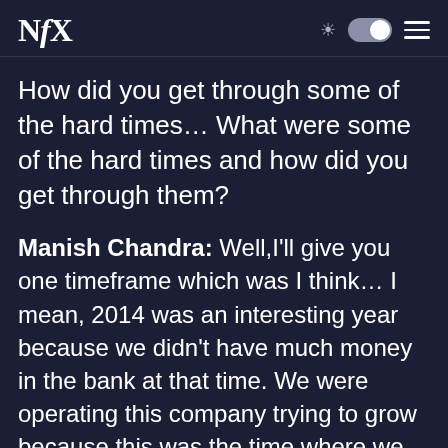NfX
How did you get through some of the hard times… What were some of the hard times and how did you get through them?
Manish Chandra: Well,I'll give you one timeframe which was I think… I mean, 2014 was an interesting year because we didn't have much money in the bank at that time. We were operating this company trying to grow because this was the time where we had just all growth and we're growing again and we